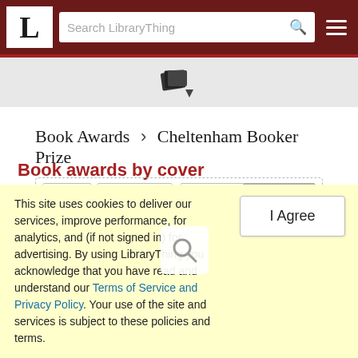LibraryThing navigation bar with logo, search field, and hamburger menu
[Figure (logo): LibraryThing books icon with dropdown arrow]
Book Awards › Cheltenham Booker Prize
Book awards by cover
[Figure (screenshot): Book covers panel with next, show all 12, Titles and Covers buttons, and four partial book cover thumbnails including George Eliot Esther Waters and Jude the Obscure by Thomas Hardy]
This site uses cookies to deliver our services, improve performance, for analytics, and (if not signed in) for advertising. By using LibraryThing you acknowledge that you have read and understand our Terms of Service and Privacy Policy. Your use of the site and services is subject to these policies and terms.